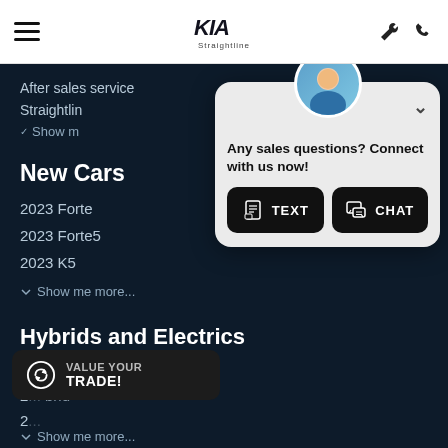[Figure (screenshot): Kia car dealership website screenshot showing navigation menu and chat popup with TEXT and CHAT buttons, value your trade badge, and car listings]
Straightline Kia
After sales service
Straightlin
Show m
New Cars
2023 Forte
2023 Forte5
2023 K5
Show me more...
Hybrids and Electrics
2022 Niro Hybrid
2 ... Hybrid
Show me more...
Any sales questions? Connect with us now!
TEXT
CHAT
VALUE YOUR TRADE!